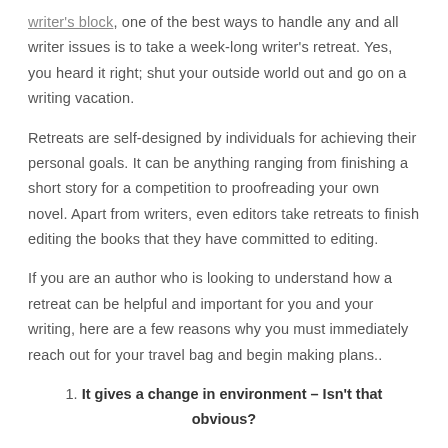writer's block, one of the best ways to handle any and all writer issues is to take a week-long writer's retreat. Yes, you heard it right; shut your outside world out and go on a writing vacation.
Retreats are self-designed by individuals for achieving their personal goals. It can be anything ranging from finishing a short story for a competition to proofreading your own novel. Apart from writers, even editors take retreats to finish editing the books that they have committed to editing.
If you are an author who is looking to understand how a retreat can be helpful and important for you and your writing, here are a few reasons why you must immediately reach out for your travel bag and begin making plans..
1. It gives a change in environment – Isn't that obvious?